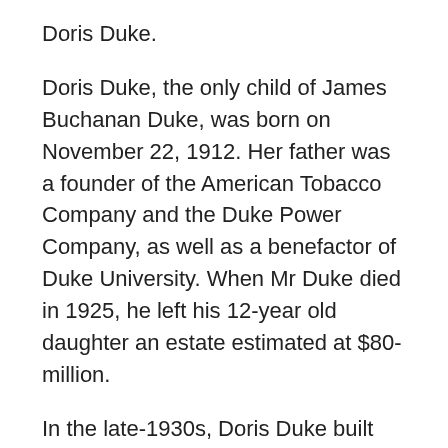Doris Duke.
Doris Duke, the only child of James Buchanan Duke, was born on November 22, 1912. Her father was a founder of the American Tobacco Company and the Duke Power Company, as well as a benefactor of Duke University. When Mr Duke died in 1925, he left his 12-year old daughter an estate estimated at $80-million.
In the late-1930s, Doris Duke built her Honolulu home, Shangri La, on 5-acres overlooking the Pacific Ocean and Diamond Head. Shangri La incorporates architectural features from the Islamic world and houses Duke's extensive collection of Islamic art, which she assembled for nearly 60-years.